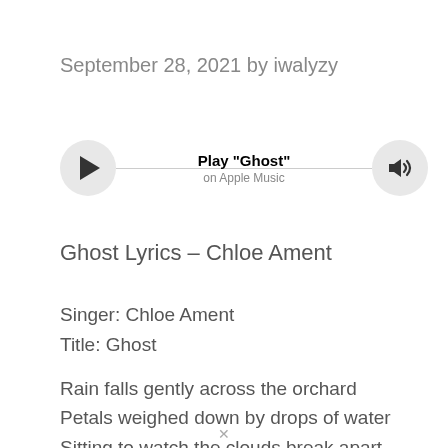September 28, 2021 by iwalyzy
[Figure (other): Apple Music player widget showing play button on the left, volume/speaker icon on the right, a horizontal line connecting them, with centered bold text 'Play "Ghost"' and subtitle 'on Apple Music']
Ghost Lyrics – Chloe Ament
Singer: Chloe Ament
Title: Ghost
Rain falls gently across the orchard
Petals weighed down by drops of water
Sitting to watch the clouds break apart